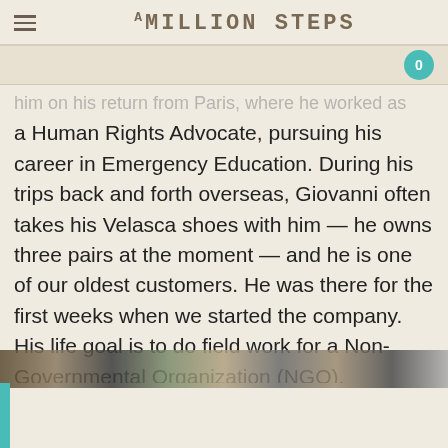A MILLION STEPS
him on his return from Paris, where he worked as a Human Rights Advocate, pursuing his career in Emergency Education. During his trips back and forth overseas, Giovanni often takes his Velasca shoes with him — he owns three pairs at the moment — and he is one of our oldest customers. He was there for the first weeks when we started the company. His life goal is to do field work for a Non-Governmental Organization (NGO).
[Figure (photo): Partial view of a landscape or outdoor photo strip at the bottom of the page]